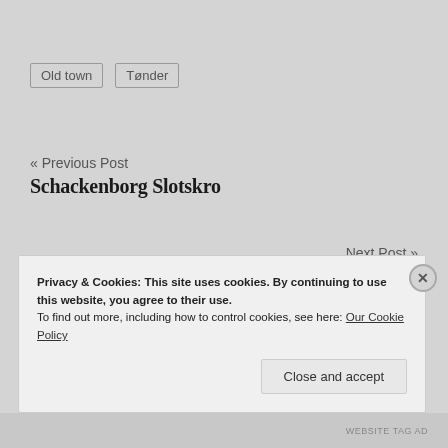Old town
Tønder
« Previous Post
Schackenborg Slotskro
Next Post »
The castle of Gram
Privacy & Cookies: This site uses cookies. By continuing to use this website, you agree to their use.
To find out more, including how to control cookies, see here: Our Cookie Policy
Close and accept
WEBSITE TAG AD